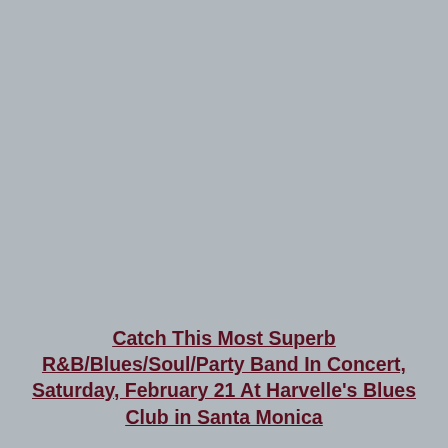22
[Figure (photo): Large gray/light blue-gray image placeholder occupying most of the upper portion of the page]
Catch This Most Superb R&B/Blues/Soul/Party Band In Concert, Saturday, February 21 At Harvelle's Blues Club in Santa Monica